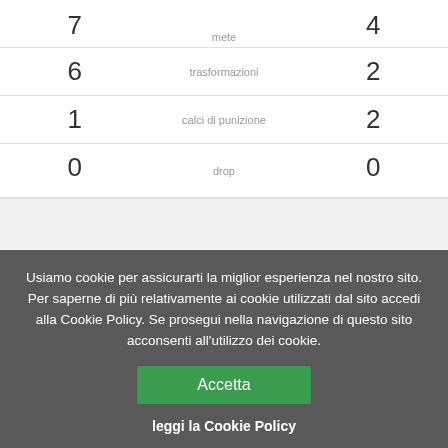|  | mete |  |
| --- | --- | --- |
| 7 | mete | 4 |
| 6 | trasformazioni | 2 |
| 1 | calci di punizione | 2 |
| 0 | drop | 0 |
| stadio | Recreation Ground |
| --- | --- |
| calcio d'inizio | 16/05/2015 00:00 |
Usiamo cookie per assicurarti la miglior esperienza nel nostro sito. Per saperne di più relativamente ai cookie utilizzati dal sito accedi alla Cookie Policy. Se prosegui nella navigazione di questo sito acconsenti all'utilizzo dei cookie.
Accetta
leggi la Cookie Policy